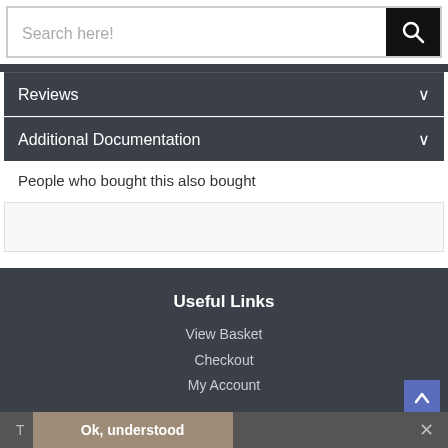[Figure (screenshot): Search bar with text placeholder 'Search here!' and black search button with magnifying glass icon]
Reviews
Additional Documentation
People who bought this also bought
Useful Links
View Basket
Checkout
My Account
T   Ok, understood   ×